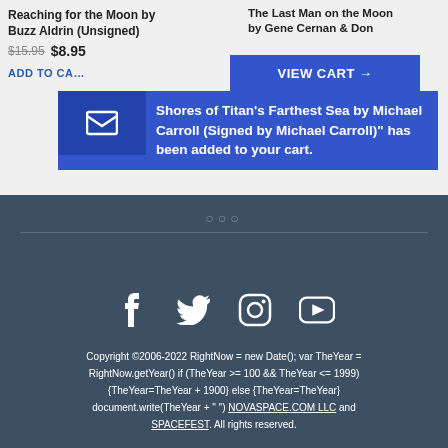Reaching for the Moon by Buzz Aldrin (Unsigned)
$15.95  $8.95
ADD TO CART
The Last Man on the Moon by Gene Cernan & Don
[Figure (screenshot): Blue notification overlay with cart icon and text: 'Shores of Titan's Farthest Sea by Michael Carroll (Signed by Michael Carroll)" has been added to your cart.' with VIEW CART button]
○○○
Social media icons: Facebook, Twitter, Instagram, YouTube
Copyright ©2006-2022 RightNow = new Date(); var TheYear = RightNow.getYear() if (TheYear >= 100 && TheYear <= 1999) {TheYear=TheYear + 1900} else {TheYear=TheYear} document.write(TheYear + " ") NOVASPACE.COM LLC and SPACEFEST. All rights reserved.